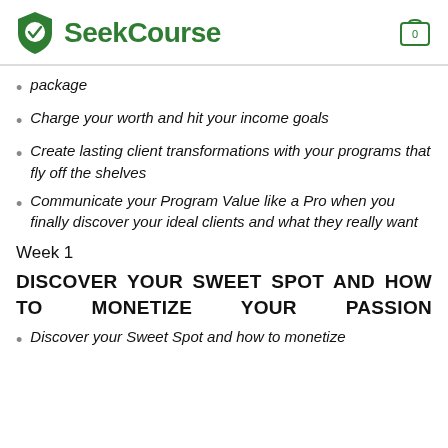SeekCourse
package
Charge your worth and hit your income goals
Create lasting client transformations with your programs that fly off the shelves
Communicate your Program Value like a Pro when you finally discover your ideal clients and what they really want
Week 1
DISCOVER YOUR SWEET SPOT AND HOW TO MONETIZE YOUR PASSION
Discover your Sweet Spot and how to monetize